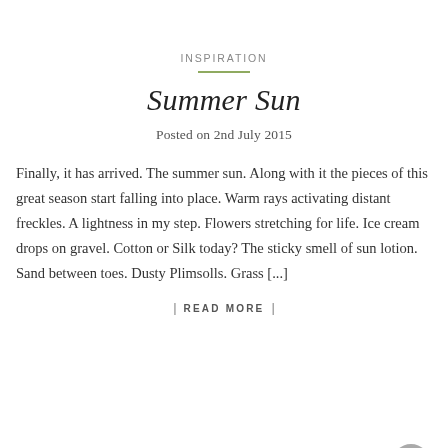INSPIRATION
Summer Sun
Posted on 2nd July 2015
Finally, it has arrived. The summer sun. Along with it the pieces of this great season start falling into place. Warm rays activating distant freckles. A lightness in my step. Flowers stretching for life. Ice cream drops on gravel. Cotton or Silk today? The sticky smell of sun lotion. Sand between toes. Dusty Plimsolls. Grass [...]
| READ MORE |